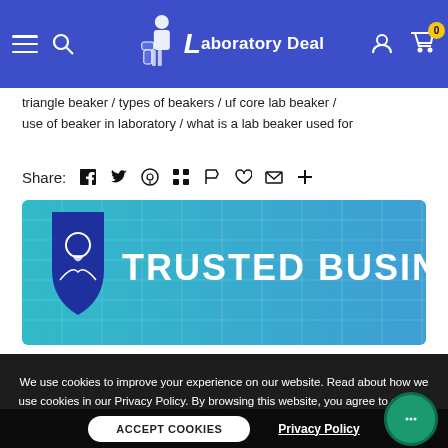Laboratory Deal — navigation bar with hamburger menu, search, logo, user icon, and cart (0)
triangle beaker / types of beakers / uf core lab beaker / use of beaker in laboratory / what is a lab beaker used for
Share: [facebook] [twitter] [pinterest] [grid] [flag] [heart] [email] [plus]
[Figure (other): Trusted Business banner with shield logo on teal/blue gradient background]
We use cookies to improve your experience on our website. Read about how we use cookies in our Privacy Policy. By browsing this website, you agree to our use of cookies.
ACCEPT COOKIES   Privacy Policy